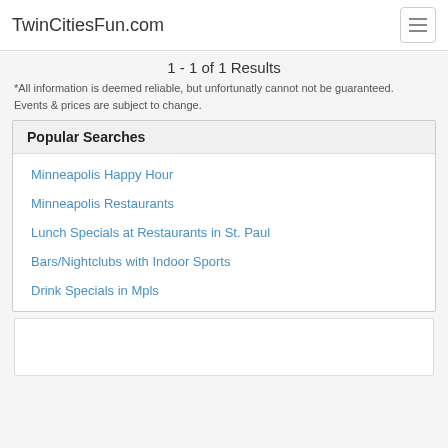TwinCitiesFun.com
1 - 1 of 1 Results
*All information is deemed reliable, but unfortunatly cannot not be guaranteed. Events & prices are subject to change.
Popular Searches
Minneapolis Happy Hour
Minneapolis Restaurants
Lunch Specials at Restaurants in St. Paul
Bars/Nightclubs with Indoor Sports
Drink Specials in Mpls
[Figure (other): Advertisement or empty box placeholder]